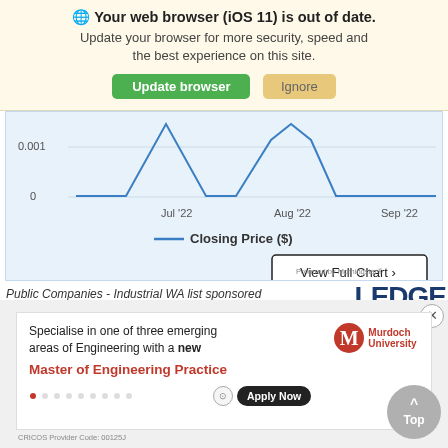🌐 Your web browser (iOS 11) is out of date. Update your browser for more security, speed and the best experience on this site. [Update browser] [Ignore]
[Figure (continuous-plot): Stock closing price line chart showing prices near 0 and 0.001 from July 2022 to September 2022, with legend 'Closing Price ($)' and a 'View Full Chart >' button. Powered by Morningstar.]
Public Companies - Industrial WA list sponsored
[Figure (logo): Partial LEDGE logo visible at top right]
[Figure (infographic): Murdoch University advertisement: 'Specialise in one of three emerging areas of Engineering with a new Master of Engineering Practice'. Includes Murdoch University logo (MU), Apply Now button, and footnote text. Close button (x) at top right. 'Top' button with up arrow at bottom right.]